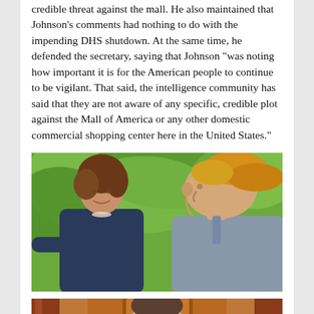credible threat against the mall. He also maintained that Johnson's comments had nothing to do with the impending DHS shutdown. At the same time, he defended the secretary, saying that Johnson "was noting how important it is for the American people to continue to be vigilant. That said, the intelligence community has said that they are not aware of any specific, credible plot against the Mall of America or any other domestic commercial shopping center here in the United States."
[Figure (photo): Two people facing each other outdoors with green foliage background — a woman with brown hair and a man with blonde hair]
[Figure (photo): Partial photo showing what appears to be a person at a formal setting with flags in background, image cut off at bottom]